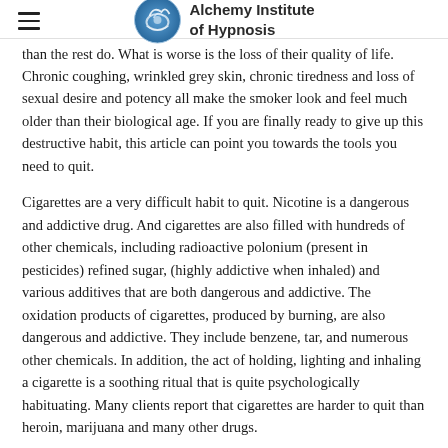Alchemy Institute of Hypnosis
than the rest do. What is worse is the loss of their quality of life. Chronic coughing, wrinkled grey skin, chronic tiredness and loss of sexual desire and potency all make the smoker look and feel much older than their biological age. If you are finally ready to give up this destructive habit, this article can point you towards the tools you need to quit.
Cigarettes are a very difficult habit to quit. Nicotine is a dangerous and addictive drug. And cigarettes are also filled with hundreds of other chemicals, including radioactive polonium (present in pesticides) refined sugar, (highly addictive when inhaled) and various additives that are both dangerous and addictive. The oxidation products of cigarettes, produced by burning, are also dangerous and addictive. They include benzene, tar, and numerous other chemicals. In addition, the act of holding, lighting and inhaling a cigarette is a soothing ritual that is quite psychologically habituating. Many clients report that cigarettes are harder to quit than heroin, marijuana and many other drugs.